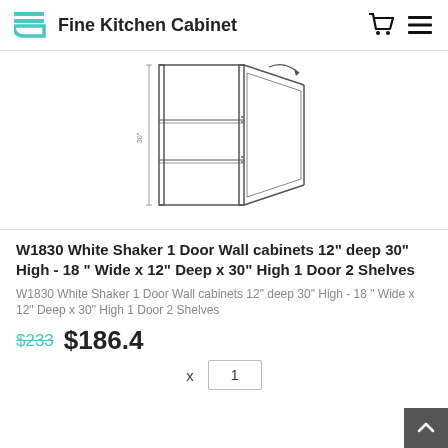Fine Kitchen Cabinet
[Figure (illustration): Line drawing / schematic of a wall cabinet with one door open, showing 2 interior shelves. The cabinet is shown in 3/4 view with the door swung open to the right.]
W1830 White Shaker 1 Door Wall cabinets 12" deep 30" High - 18 " Wide x 12" Deep x 30" High 1 Door 2 Shelves
W1830 White Shaker 1 Door Wall cabinets 12" deep 30" High - 18 " Wide x 12" Deep x 30" High 1 Door 2 Shelves
$233 $186.4
x  1